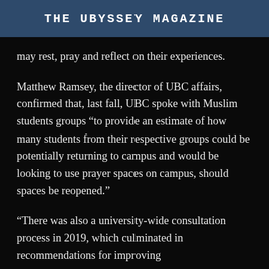THE UBYSSEY MAGAZINE
may rest, pray and reflect on their experiences.
Matthew Ramsey, the director of UBC affairs, confirmed that, last fall, UBC spoke with Muslim students groups “to provide an estimate of how many students from their respective groups could be potentially returning to campus and would be looking to use prayer spaces on campus, should spaces be reopened.”
“There was also a university-wide consultation process in 2019, which culminated in recommendations for improving